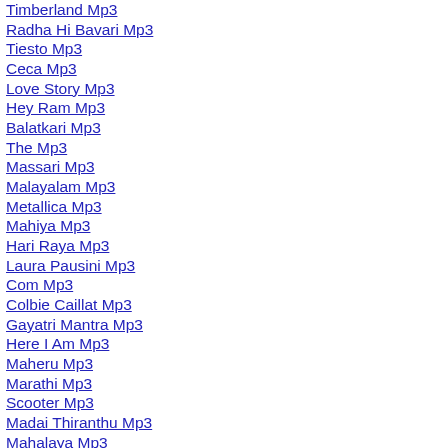Timberland Mp3
Radha Hi Bavari Mp3
Tiesto Mp3
Ceca Mp3
Love Story Mp3
Hey Ram Mp3
Balatkari Mp3
The Mp3
Massari Mp3
Malayalam Mp3
Metallica Mp3
Mahiya Mp3
Hari Raya Mp3
Laura Pausini Mp3
Com Mp3
Colbie Caillat Mp3
Gayatri Mantra Mp3
Here I Am Mp3
Maheru Mp3
Marathi Mp3
Scooter Mp3
Madai Thiranthu Mp3
Mahalaya Mp3
Madonna Mp3
Love Story Mp3
Last Of The Mohicans Mp3